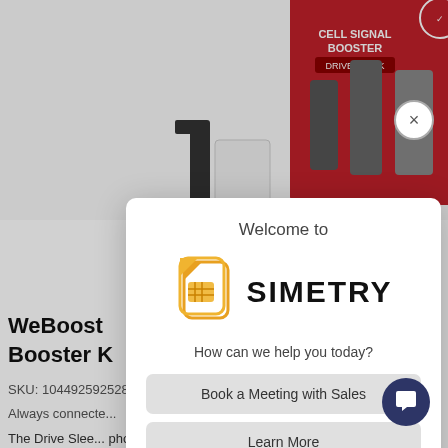[Figure (screenshot): Product page background showing a WeBoost Cell Signal Booster kit in red packaging with antennas, partially obscured by a modal overlay]
WeBoost Cell Signal Booster K...
SKU: 10449259258...
Always connecte...
The Drive Slee... phone signal booster. This booster can boost cell signals up to 32x, enhancing...
Price: $199.99
[Figure (screenshot): Simetry chat widget modal popup with welcome message, SIM card logo, company name SIMETRY, tagline, and two buttons: Book a Meeting with Sales and Learn More]
Welcome to
[Figure (logo): Simetry SIM card icon logo in orange/yellow gradient outline style]
SIMETRY
How can we help you today?
Book a Meeting with Sales
Learn More